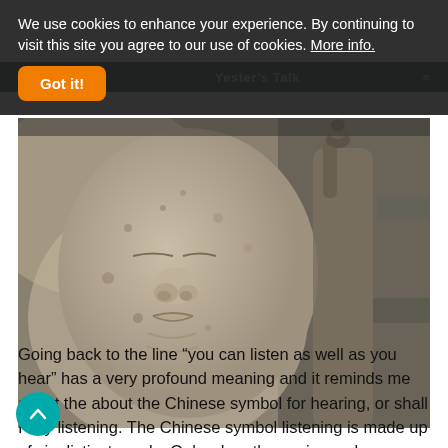We use cookies to enhance your experience. By continuing to visit this site you agree to our use of cookies. More info.
Got it!
[Figure (photo): Close-up photograph of a weathered stone Buddha statue face, with a second carved figure partially visible in the background.]
Going back to the line “you can listen as well as you hear” has a very profound meaning and it reminds me about the about the Chinese symbol for hearing, or shall I say listening. The Chinese symbol listening is made up of six distinct words. Only when these six words are integrated it describes when